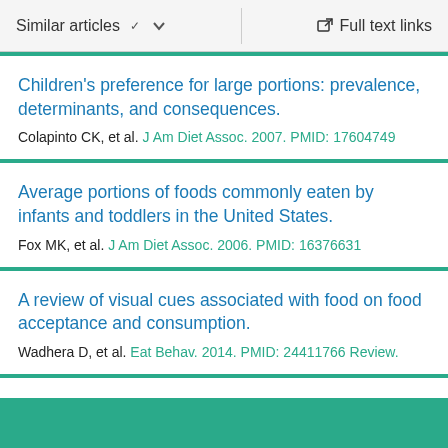Similar articles  ∨   Full text links
Children's preference for large portions: prevalence, determinants, and consequences.
Colapinto CK, et al. J Am Diet Assoc. 2007. PMID: 17604749
Average portions of foods commonly eaten by infants and toddlers in the United States.
Fox MK, et al. J Am Diet Assoc. 2006. PMID: 16376631
A review of visual cues associated with food on food acceptance and consumption.
Wadhera D, et al. Eat Behav. 2014. PMID: 24411766 Review.